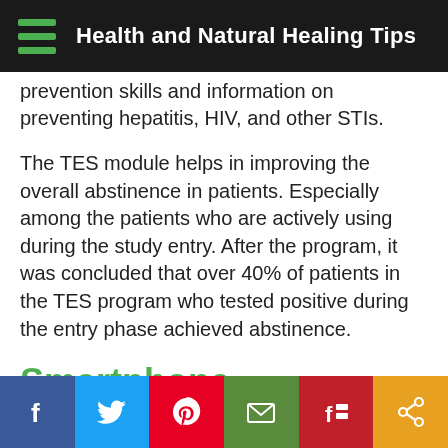Health and Natural Healing Tips
prevention skills and information on preventing hepatitis, HIV, and other STIs.
The TES module helps in improving the overall abstinence in patients. Especially among the patients who are actively using during the study entry. After the program, it was concluded that over 40% of patients in the TES program who tested positive during the entry phase achieved abstinence.
Smartphone Applications
Social share bar: Facebook, Twitter, Pinterest, Email, Flipboard, Share